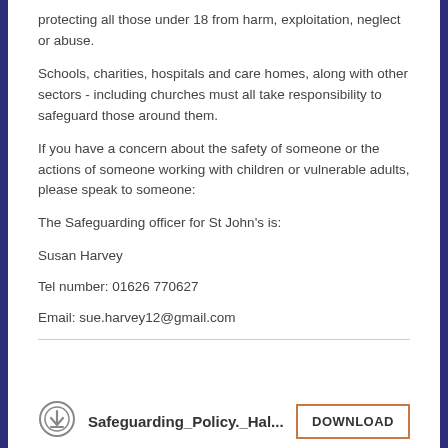protecting all those under 18 from harm, exploitation, neglect or abuse.
Schools, charities, hospitals and care homes, along with other sectors - including churches must all take responsibility to safeguard those around them.
If you have a concern about the safety of someone or the actions of someone working with children or vulnerable adults, please speak to someone:
The Safeguarding officer for St John's is:
Susan Harvey
Tel number: 01626 770627
Email: sue.harvey12@gmail.com
[Figure (other): Download icon circle with downward arrow]
Safeguarding_Policy._Hal...
DOWNLOAD